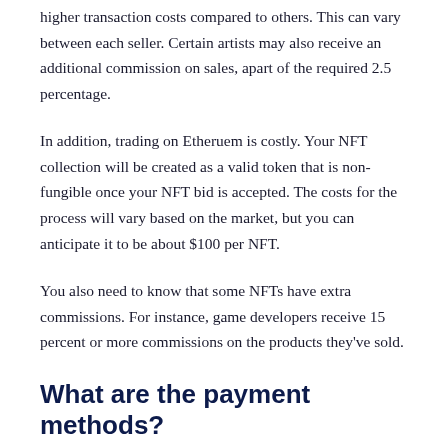higher transaction costs compared to others. This can vary between each seller. Certain artists may also receive an additional commission on sales, apart of the required 2.5 percentage.
In addition, trading on Etheruem is costly. Your NFT collection will be created as a valid token that is non-fungible once your NFT bid is accepted. The costs for the process will vary based on the market, but you can anticipate it to be about $100 per NFT.
You also need to know that some NFTs have extra commissions. For instance, game developers receive 15 percent or more commissions on the products they've sold.
What are the payment methods?
OpenSea does not accept traditional currencies such as US Dollars. Euros. You will need to use a cryptocurrency. This